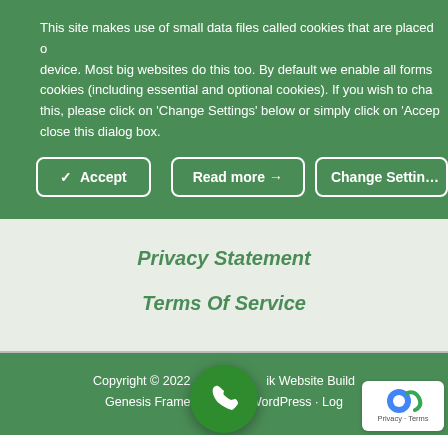This site makes use of small data files called cookies that are placed on your device. Most big websites do this too. By default we enable all forms of cookies (including essential and optional cookies). If you wish to change this, please click on 'Change Settings' below or simply click on 'Accept' to close this dialog box.
[Figure (screenshot): Three buttons: Accept (with checkmark), Read more (with arrow), Change Settings]
Privacy Statement
Terms Of Service
Copyright © 2022 · Dv___ik Website Build___ · Genesis Framework · ___/WordPress · Log___
[Figure (other): Green phone button circle overlay and reCAPTCHA privacy badge in bottom right]